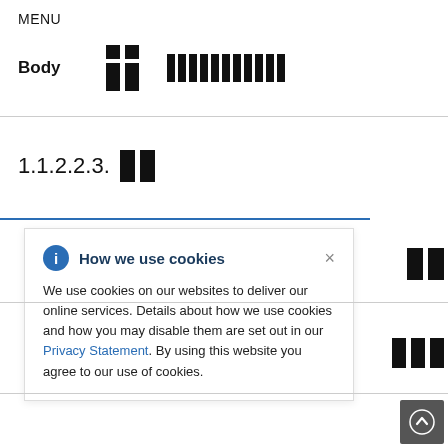MENU
| Body |  |  |
| --- | --- | --- |
|  |
1.1.2.2.3.
How we use cookies

We use cookies on our websites to deliver our online services. Details about how we use cookies and how you may disable them are set out in our Privacy Statement. By using this website you agree to our use of cookies.